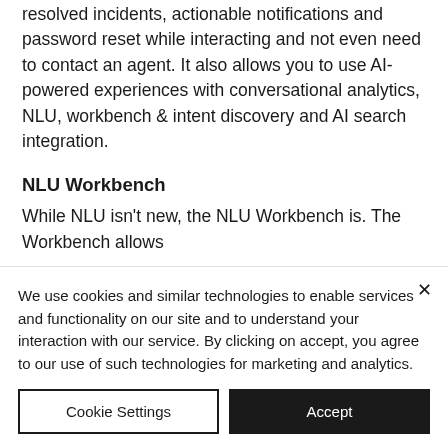resolved incidents, actionable notifications and password reset while interacting and not even need to contact an agent. It also allows you to use AI-powered experiences with conversational analytics, NLU, workbench & intent discovery and AI search integration.
NLU Workbench
While NLU isn't new, the NLU Workbench is. The Workbench allows
We use cookies and similar technologies to enable services and functionality on our site and to understand your interaction with our service. By clicking on accept, you agree to our use of such technologies for marketing and analytics.